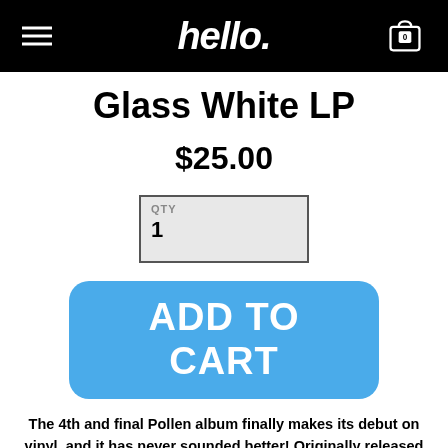hello. [navigation header with menu and cart icon showing 0]
Glass White LP
$25.00
QTY 1
ADD TO CART
The 4th and final Pollen album finally makes its debut on vinyl, and it has never sounded better! Originally released in February of 2000 on Fueled By Ramen, Chip